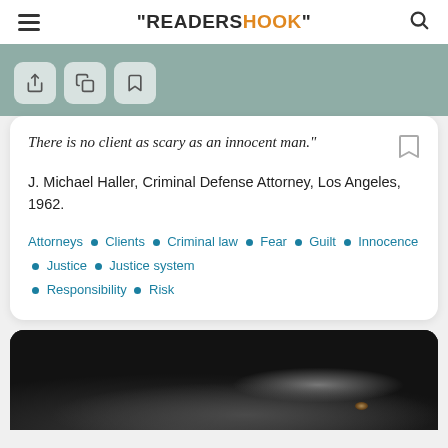"READERSHOOK"
[Figure (screenshot): Teal/grey banner bar with share/copy/bookmark icon buttons]
There is no client as scary as an innocent man."
J. Michael Haller, Criminal Defense Attorney, Los Angeles, 1962.
Attorneys • Clients • Criminal law • Fear • Guilt • Innocence • Justice • Justice system • Responsibility • Risk
[Figure (photo): Close-up photograph of a black dog, showing its face and eye against a dark background]